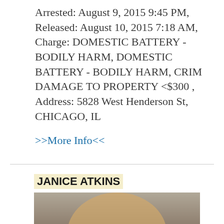Arrested: August 9, 2015 9:45 PM, Released: August 10, 2015 7:18 AM, Charge: DOMESTIC BATTERY - BODILY HARM, DOMESTIC BATTERY - BODILY HARM, CRIM DAMAGE TO PROPERTY <$300 , Address: 5828 West Henderson St, CHICAGO, IL
>>More Info<<
JANICE ATKINS
[Figure (photo): Mugshot photo of Janice Atkins, an African American woman, shown from shoulders up against a gray background.]